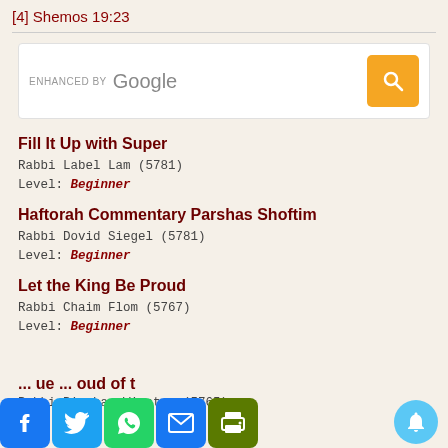[4] Shemos 19:23
[Figure (screenshot): Google custom search box with orange search button]
Fill It Up with Super
Rabbi Label Lam (5781)
Level: Beginner
Haftorah Commentary Parshas Shoftim
Rabbi Dovid Siegel (5781)
Level: Beginner
Let the King Be Proud
Rabbi Chaim Flom (5767)
Level: Beginner
... ue ... oud of t
Rabbi Pinchas Winston (5765)
[Figure (screenshot): Social sharing icons: Facebook, Twitter, WhatsApp, Email, Print; and notification bell button]